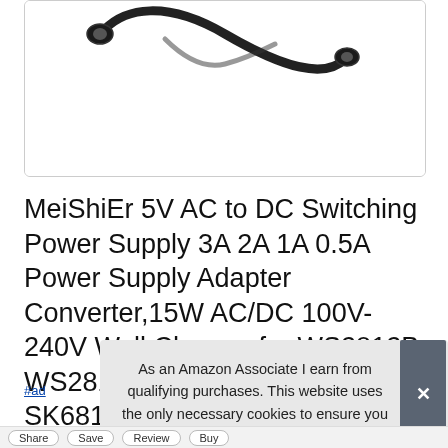[Figure (photo): Product photo showing a black power adapter cable/connector against white background, partially cropped at top]
MeiShiEr 5V AC to DC Switching Power Supply 3A 2A 1A 0.5A Power Supply Adapter Converter,15W AC/DC 100V-240V Wall Charger for WS2812B WS2813 WS2811 W2813 SK6812 LED Str
#ad
As an Amazon Associate I earn from qualifying purchases. This website uses the only necessary cookies to ensure you get the best experience on our website. More information